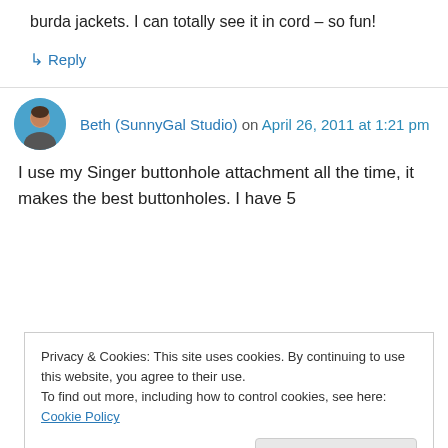burda jackets. I can totally see it in cord – so fun!
↳ Reply
Beth (SunnyGal Studio) on April 26, 2011 at 1:21 pm
I use my Singer buttonhole attachment all the time, it makes the best buttonholes. I have 5
Privacy & Cookies: This site uses cookies. By continuing to use this website, you agree to their use.
To find out more, including how to control cookies, see here: Cookie Policy
Close and accept
stronger buttonhole on ravely fabrics. lastly, I use